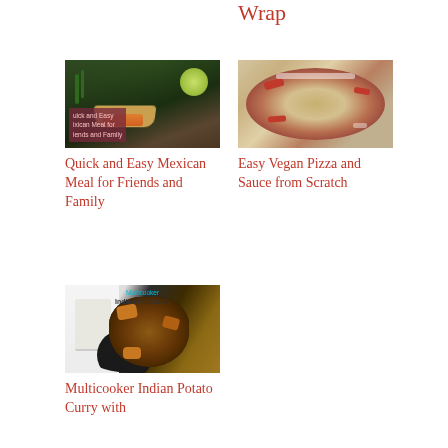Wrap
[Figure (photo): Mexican meal with taco bowl, lime, cilantro, green onions on dark background with overlay text 'Quick and Easy Mexican Meal for Friends and Family']
Quick and Easy Mexican Meal for Friends and Family
[Figure (photo): Vegan pizza with red peppers, tomatoes, and cheese on flatbread]
Easy Vegan Pizza and Sauce from Scratch
[Figure (photo): Multicooker Indian Potato Curry in a dark bowl with rice on the side on white background, overlay text 'Multicooker Indian Potato Cu']
Multicooker Indian Potato Curry with